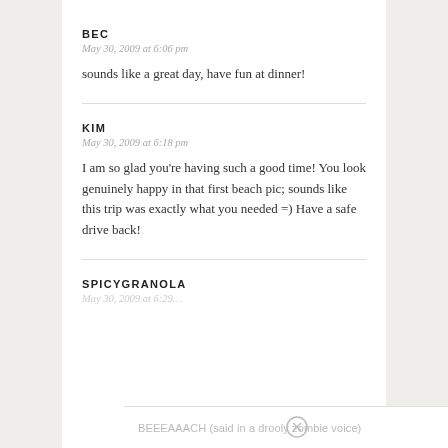BEC
May 30, 2009 at 6:06 pm
sounds like a great day, have fun at dinner!
KIM
May 30, 2009 at 6:18 pm
I am so glad you're having such a good time! You look genuinely happy in that first beach pic; sounds like this trip was exactly what you needed =) Have a safe drive back!
SPICYGRANOLA
May 30, 2009 at 6:29…
BEEEAAACH (said in a drooly zombie voice)